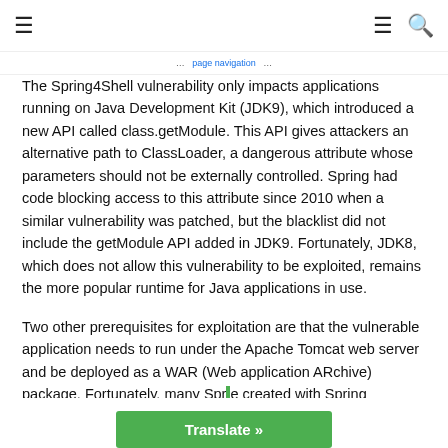≡   ≡ 🔍
... page navigation link ...
The Spring4Shell vulnerability only impacts applications running on Java Development Kit (JDK9), which introduced a new API called class.getModule. This API gives attackers an alternative path to ClassLoader, a dangerous attribute whose parameters should not be externally controlled. Spring had code blocking access to this attribute since 2010 when a similar vulnerability was patched, but the blacklist did not include the getModule API added in JDK9. Fortunately, JDK8, which does not allow this vulnerability to be exploited, remains the more popular runtime for Java applications in use.
Two other prerequisites for exploitation are that the vulnerable application needs to run under the Apache Tomcat web server and be deployed as a WAR (Web application ARchive) package. Fortunately, many Spr... e created with Spring
Translate »